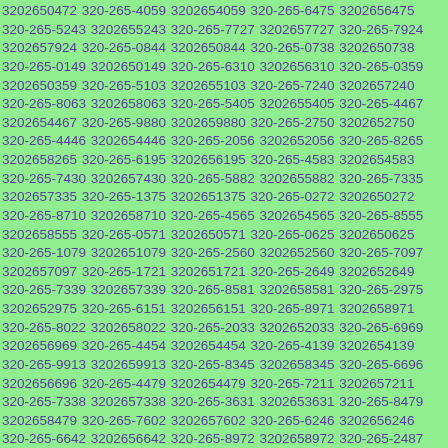3202650472 320-265-4059 3202654059 320-265-6475 3202656475 320-265-5243 3202655243 320-265-7727 3202657727 320-265-7924 3202657924 320-265-0844 3202650844 320-265-0738 3202650738 320-265-0149 3202650149 320-265-6310 3202656310 320-265-0359 3202650359 320-265-5103 3202655103 320-265-7240 3202657240 320-265-8063 3202658063 320-265-5405 3202655405 320-265-4467 3202654467 320-265-9880 3202659880 320-265-2750 3202652750 320-265-4446 3202654446 320-265-2056 3202652056 320-265-8265 3202658265 320-265-6195 3202656195 320-265-4583 3202654583 320-265-7430 3202657430 320-265-5882 3202655882 320-265-7335 3202657335 320-265-1375 3202651375 320-265-0272 3202650272 320-265-8710 3202658710 320-265-4565 3202654565 320-265-8555 3202658555 320-265-0571 3202650571 320-265-0625 3202650625 320-265-1079 3202651079 320-265-2560 3202652560 320-265-7097 3202657097 320-265-1721 3202651721 320-265-2649 3202652649 320-265-7339 3202657339 320-265-8581 3202658581 320-265-2975 3202652975 320-265-6151 3202656151 320-265-8971 3202658971 320-265-8022 3202658022 320-265-2033 3202652033 320-265-6969 3202656969 320-265-4454 3202654454 320-265-4139 3202654139 320-265-9913 3202659913 320-265-8345 3202658345 320-265-6696 3202656696 320-265-4479 3202654479 320-265-7211 3202657211 320-265-7338 3202657338 320-265-3631 3202653631 320-265-8479 3202658479 320-265-7602 3202657602 320-265-6246 3202656246 320-265-6642 3202656642 320-265-8972 3202658972 320-265-2487 3202652487 320-265-3922 3202653922 320-265-6393 3202656393